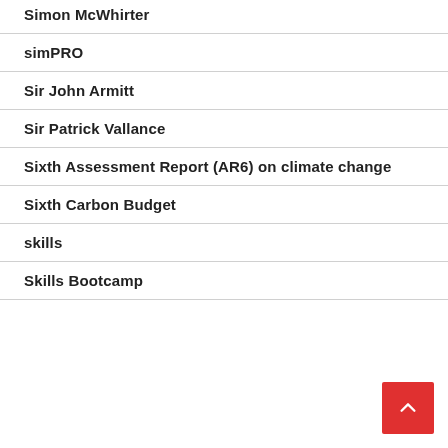Simon McWhirter
simPRO
Sir John Armitt
Sir Patrick Vallance
Sixth Assessment Report (AR6) on climate change
Sixth Carbon Budget
skills
Skills Bootcamp